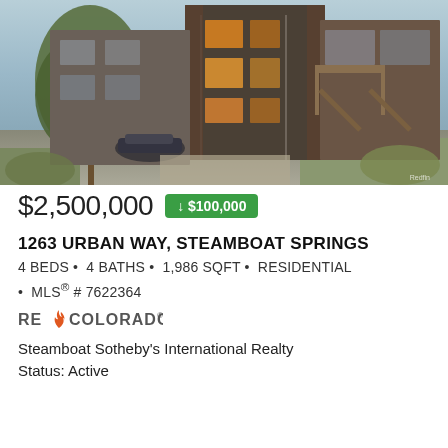[Figure (photo): Exterior photo of a modern multi-story residential building with wood and glass facade, trees in foreground, driveway visible, dusk/evening lighting]
$2,500,000 ↓ $100,000
1263 URBAN WAY, STEAMBOAT SPRINGS
4 BEDS • 4 BATHS • 1,986 SQFT • RESIDENTIAL • MLS® # 7622364
[Figure (logo): REcolorado logo with flame icon]
Steamboat Sotheby's International Realty
Status: Active